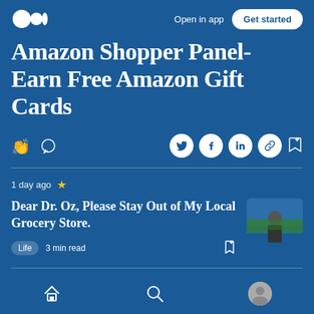Open in app  Get started
Amazon Shopper Panel- Earn Free Amazon Gift Cards
1 day ago
Dear Dr. Oz, Please Stay Out of My Local Grocery Store.
Life  3 min read
Home  Search  Profile